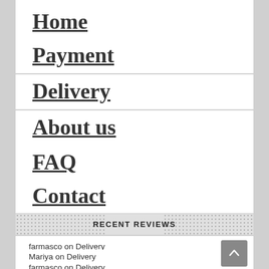Home
Payment
Delivery
About us
FAQ
Contact
RECENT REVIEWS
farmasco on Delivery
Mariya on Delivery
farmasco on Delivery